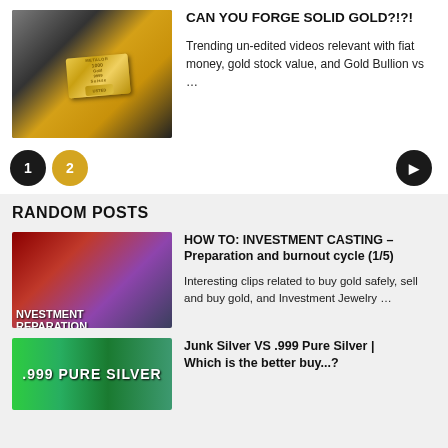[Figure (photo): Gold bullion bar on dark metallic surface]
CAN YOU FORGE SOLID GOLD?!?!
Trending un-edited videos relevant with fiat money, gold stock value, and Gold Bullion vs …
RANDOM POSTS
[Figure (photo): Investment casting preparation video thumbnail with text NVESTMENT REPARATION]
HOW TO: INVESTMENT CASTING – Preparation and burnout cycle (1/5)
Interesting clips related to buy gold safely, sell and buy gold, and Investment Jewelry …
[Figure (photo): Junk Silver vs .999 Pure Silver thumbnail with green background]
Junk Silver VS .999 Pure Silver | Which is the better buy...?